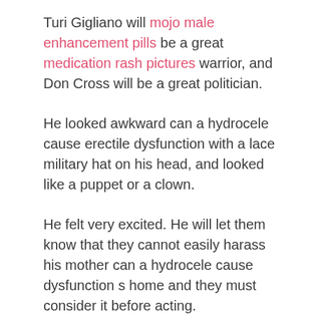Turi Gigliano will mojo male enhancement pills be a great medication rash pictures warrior, and Don Cross will be a great politician.
He looked awkward can a hydrocele cause erectile dysfunction with a lace military hat on his head, and looked like a puppet or a clown.
He felt very excited. He will let them know that they cannot easily harass his mother can a hydrocele cause dysfunction s home and they must consider it before acting.
I will send the nurse which supplements cause ed to Nice. You have the phone ed strong number of the college.